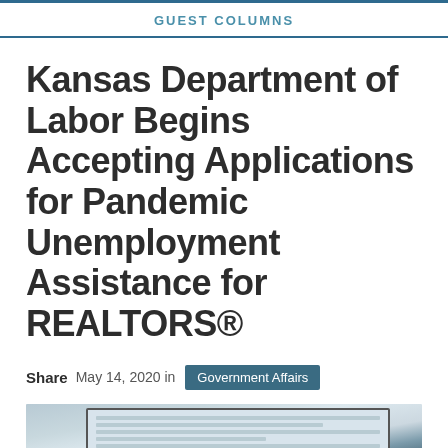GUEST COLUMNS
Kansas Department of Labor Begins Accepting Applications for Pandemic Unemployment Assistance for REALTORS®
Share  May 14, 2020 in  Government Affairs
[Figure (photo): Photo of a person's hands typing on a laptop keyboard, with a spreadsheet or form visible on the laptop screen. The laptop sits on a wooden desk.]